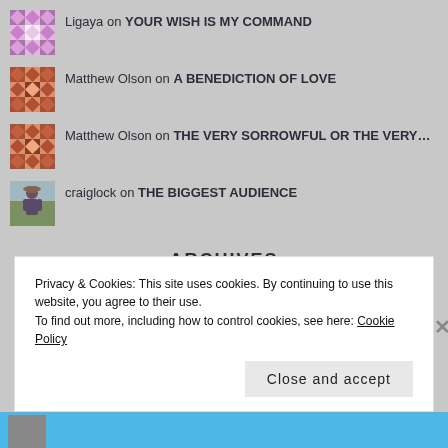Ligaya on YOUR WISH IS MY COMMAND
Matthew Olson on A BENEDICTION OF LOVE
Matthew Olson on THE VERY SORROWFUL OR THE VERY…
craiglock on THE BIGGEST AUDIENCE
ARCHIVES
Privacy & Cookies: This site uses cookies. By continuing to use this website, you agree to their use. To find out more, including how to control cookies, see here: Cookie Policy
Close and accept